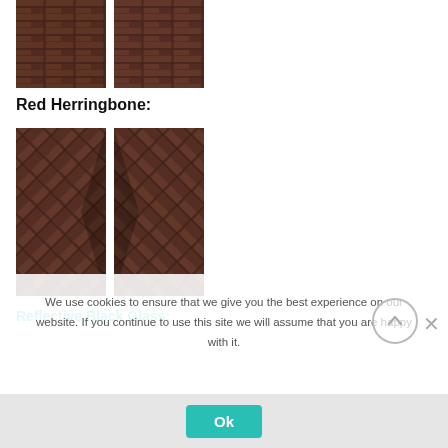[Figure (photo): Two dark reddish-brown brick panel photos side by side (standard brick pattern), partially cut off at top]
Red Herringbone:
[Figure (photo): Two dark reddish-brown brick panel photos side by side showing herringbone diagonal pattern]
Reflective Black Glass:
We use cookies to ensure that we give you the best experience on our website. If you continue to use this site we will assume that you are happy with it.